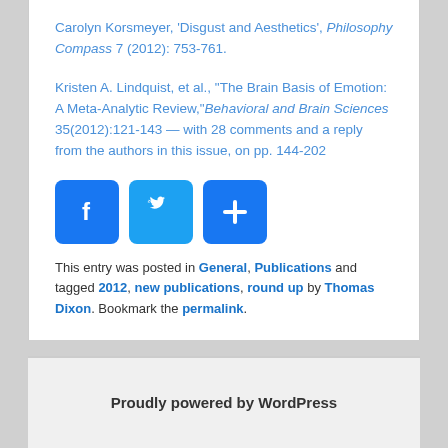Carolyn Korsmeyer, 'Disgust and Aesthetics', Philosophy Compass 7 (2012): 753-761.
Kristen A. Lindquist, et al., "The Brain Basis of Emotion: A Meta-Analytic Review," Behavioral and Brain Sciences 35(2012):121-143 — with 28 comments and a reply from the authors in this issue, on pp. 144-202
[Figure (other): Three social sharing buttons: Facebook (blue f icon), Twitter (blue bird icon), and a plus/share button (blue + icon)]
This entry was posted in General, Publications and tagged 2012, new publications, round up by Thomas Dixon. Bookmark the permalink.
Proudly powered by WordPress